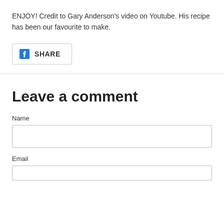ENJOY! Credit to Gary Anderson's video on Youtube. His recipe has been our favourite to make.
[Figure (other): Facebook Share button with Facebook logo icon and SHARE text label]
Leave a comment
Name
Email